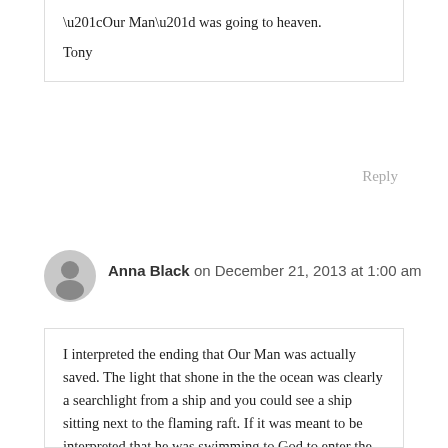“Our Man” was going to heaven.

Tony
Reply
Anna Black on December 21, 2013 at 1:00 am
I interpreted the ending that Our Man was actually saved. The light that shone in the the ocean was clearly a searchlight from a ship and you could see a ship sitting next to the flaming raft. If it was meant to be interpreted that he was swimming to God to enter the next life, we wouldn’t have seen a ship and searchlight. Never in the film are esoteric symbols used, so why suddenly would a ship and searchlight be symbols for God? No. The hand that reached for Our Man was that of a flesh and blood human being coming to save him. I think the ambiguity of the ending is simply to drive home the point that doing